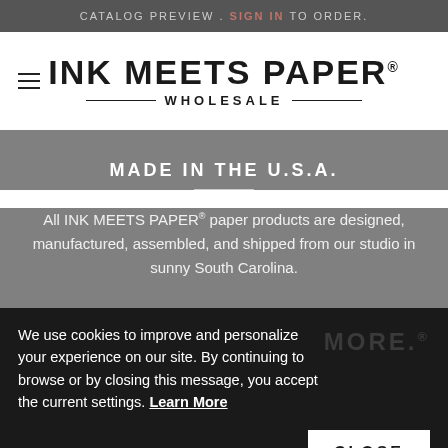CATALOG PREVIEW . SIGN IN TO ORDER.
INK MEETS PAPER® WHOLESALE
MADE IN THE U.S.A.
All INK MEETS PAPER® paper products are designed, manufactured, assembled, and shipped from our studio in sunny South Carolina.
We use cookies to improve and personalize your experience on our site. By continuing to browse or by closing this message, you accept the current settings. Learn More
We believe in the timelessness of handwritten correspondence. Thanks for helping us make the world